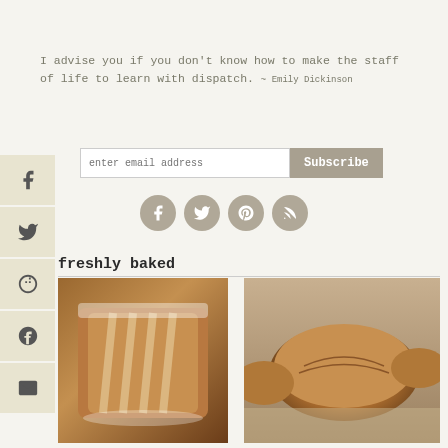I advise you if you don't know how to make the staff of life to learn with dispatch. ~ Emily Dickinson
[Figure (screenshot): Email subscription bar with text input 'enter email address' and 'Subscribe' button]
[Figure (infographic): Four social media icon circles: Facebook, Twitter, Pinterest, RSS]
freshly baked
[Figure (photo): Sliced glazed bread loaf dusted with powdered sugar on wooden surface]
[Figure (photo): Rustic bread rolls on linen cloth]
[Figure (other): Social media sidebar with Facebook, Twitter, Google+, Pinterest, Email icons]